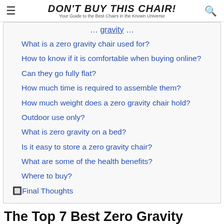DON'T BUY THIS CHAIR! Your Guide to the Best Chairs in the Known Universe
What is a zero gravity chair used for?
How to know if it is comfortable when buying online?
Can they go fully flat?
How much time is required to assemble them?
How much weight does a zero gravity chair hold?
Outdoor use only?
What is zero gravity on a bed?
Is it easy to store a zero gravity chair?
What are some of the health benefits?
Where to buy?
🔲Final Thoughts
The Top 7 Best Zero Gravity Chairs